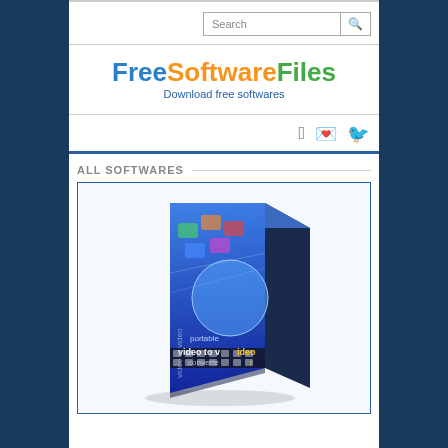Search
FreeSoftwareFiles - Download free softwares
ALL SOFTWARES
[Figure (photo): 3D software box packaging for 'portable video to video converter' software, with blue digital world/media imagery on the front and side panels showing 'video to video' text.]